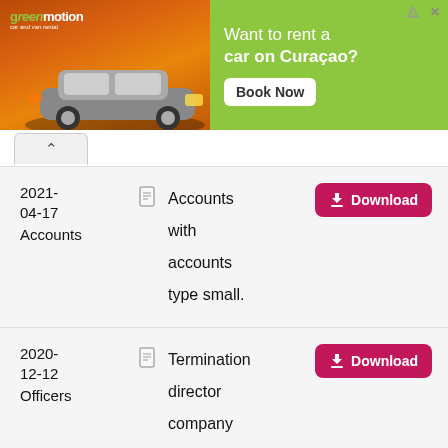[Figure (screenshot): Green Motion car and van rental advertisement banner with orange background showing a car silhouette, and green right panel with text 'Want to rent a car on Curaçao?' and a 'Book Now' button]
2021-04-17  Accounts
Accounts with accounts type small.
2020-12-12  Officers
Termination director company with name termination date.